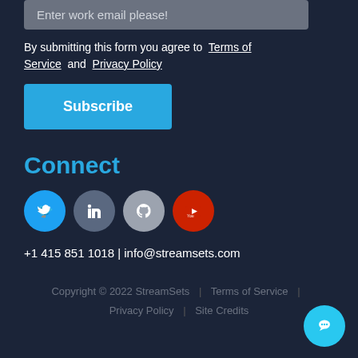Enter work email please!
By submitting this form you agree to Terms of Service and Privacy Policy
Subscribe
Connect
[Figure (infographic): Social media icons: Twitter (blue circle), LinkedIn (gray-blue circle), GitHub (gray circle), YouTube (red circle)]
+1 415 851 1018 | info@streamsets.com
Copyright © 2022 StreamSets | Terms of Service | Privacy Policy | Site Credits